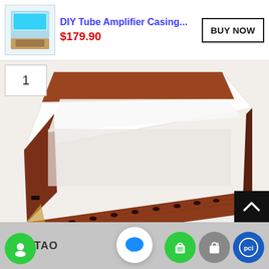[Figure (screenshot): Product thumbnail: DIY Tube Amplifier Casing with blue acrylic top panel, small square product image]
DIY Tube Amplifier Casing...
$179.90
BUY NOW
1
[Figure (photo): Close-up photo of a wooden DIY tube amplifier casing frame with dark reddish-brown finish, showing ventilation holes on the front face, viewed from above at an angle on a white surface]
IWISTAO
[Figure (other): Chat bubble icon (blue speech bubble) on white circle]
[Figure (other): Green circle with white chat/person icon]
[Figure (other): Scroll to top button, black square with white chevron up arrow]
[Figure (other): Three shopping app icons: green shopping bag, grey/white Shopify bag, blue PCI badge]